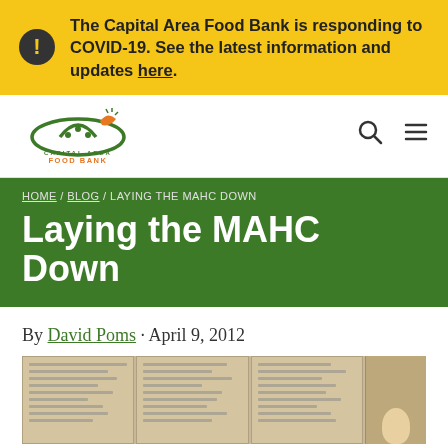The Capital Area Food Bank is responding to COVID-19. See the latest information and updates here.
[Figure (logo): Capital Area Food Bank logo with green arch and orange carrot]
HOME / BLOG / LAYING THE MAHC DOWN
Laying the MAHC Down
By David Poms · April 9, 2012
[Figure (photo): Person standing next to large sheets of paper with handwritten notes on the wall]